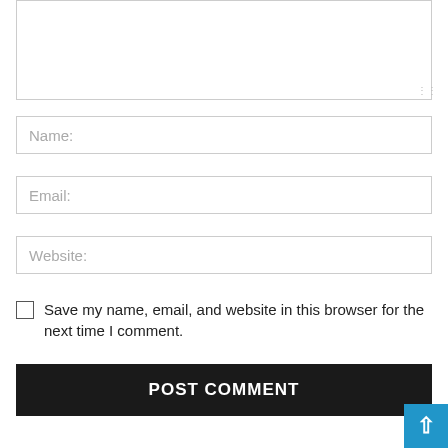[Figure (screenshot): Comment form textarea (partially visible at top), with border and resize handle in bottom-right corner]
Name:
Email:
Website:
Save my name, email, and website in this browser for the next time I comment.
POST COMMENT
[Figure (screenshot): Blue scroll-to-top button with upward arrow chevron in bottom-right corner]